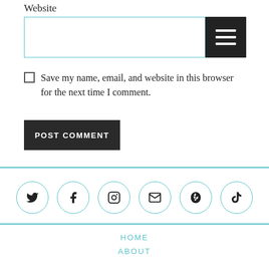Website
Save my name, email, and website in this browser for the next time I comment.
POST COMMENT
[Figure (other): Social media icon links in circles: Twitter, Facebook, Instagram, Email, Yelp, TikTok]
HOME  ABOUT